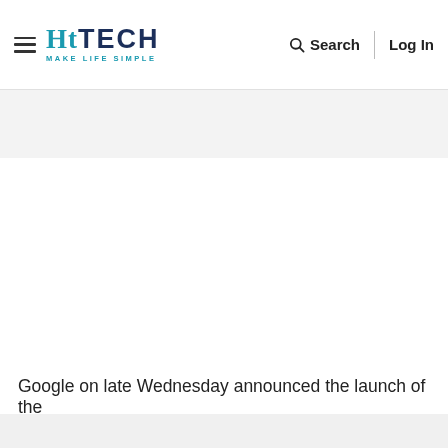HT TECH — Make Life Simple | Search | Log In
[Figure (other): Gray advertisement/placeholder band below the navigation header]
Google on late Wednesday announced the launch of the